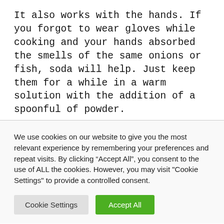It also works with the hands. If you forgot to wear gloves while cooking and your hands absorbed the smells of the same onions or fish, soda will help. Just keep them for a while in a warm solution with the addition of a spoonful of powder.
We use cookies on our website to give you the most relevant experience by remembering your preferences and repeat visits. By clicking “Accept All”, you consent to the use of ALL the cookies. However, you may visit "Cookie Settings" to provide a controlled consent.